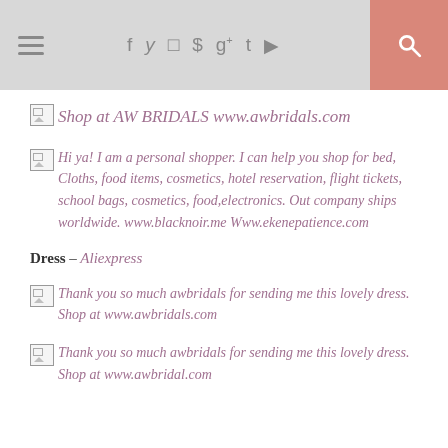navigation header with hamburger menu, social icons (f, twitter, instagram, pinterest, g+, tumblr, youtube), and search button
Shop at AW BRIDALS www.awbridals.com
Hi ya! I am a personal shopper. I can help you shop for bed, Cloths, food items, cosmetics, hotel reservation, flight tickets, school bags, cosmetics, food,electronics. Out company ships worldwide. www.blacknoir.me Www.ekenepatience.com
Dress – Aliexpress
Thank you so much awbridals for sending me this lovely dress. Shop at www.awbridals.com
Thank you so much awbridals for sending me this lovely dress. Shop at www.awbridal.com